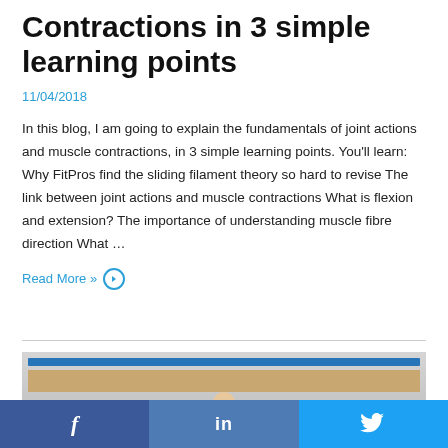Contractions in 3 simple learning points
11/04/2018
In this blog, I am going to explain the fundamentals of joint actions and muscle contractions, in 3 simple learning points. You’ll learn: Why FitPros find the sliding filament theory so hard to revise The link between joint actions and muscle contractions What is flexion and extension? The importance of understanding muscle fibre direction What …
Read More »
[Figure (photo): Partial view of a person with a blue and tan book or banner element visible]
f  in  🐦